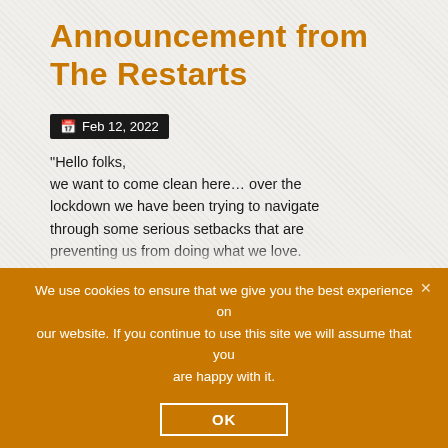Announcement from The Restarts
Feb 12, 2022
“Hello folks,
we want to come clean here… over the lockdown we have been trying to navigate through some serious setbacks that are preventing us from doing what we love.
It is hugely frustrating as you can imagine but
We use cookies to ensure that we give you the best experience on our website. If you continue to use this site we will assume that you are happy with it.
OK